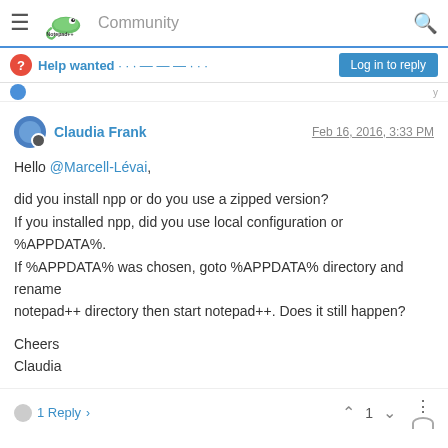Community
Help wanted · · · — — — · · ·
Log in to reply
Claudia Frank  Feb 16, 2016, 3:33 PM
Hello @Marcell-Lévai,

did you install npp or do you use a zipped version?
If you installed npp, did you use local configuration or %APPDATA%.
If %APPDATA% was chosen, goto %APPDATA% directory and rename
notepad++ directory then start notepad++. Does it still happen?

Cheers
Claudia
1 Reply >   ^ 1 v   ⋮